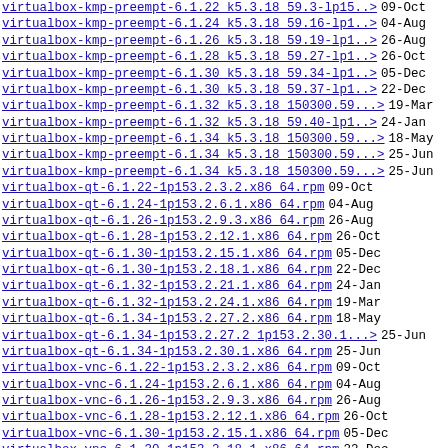virtualbox-kmp-preempt-6.1.22 k5.3.18 59.3-lp15..> 09-Oct
virtualbox-kmp-preempt-6.1.24 k5.3.18 59.16-lp1..> 04-Aug
virtualbox-kmp-preempt-6.1.26 k5.3.18 59.19-lp1..> 26-Aug
virtualbox-kmp-preempt-6.1.28 k5.3.18 59.27-lp1..> 26-Oct
virtualbox-kmp-preempt-6.1.30 k5.3.18 59.34-lp1..> 05-Dec
virtualbox-kmp-preempt-6.1.30 k5.3.18 59.37-lp1..> 22-Dec
virtualbox-kmp-preempt-6.1.32 k5.3.18 150300.59...> 19-Mar
virtualbox-kmp-preempt-6.1.32 k5.3.18 59.40-lp1..> 24-Jan
virtualbox-kmp-preempt-6.1.34 k5.3.18 150300.59...> 18-May
virtualbox-kmp-preempt-6.1.34 k5.3.18 150300.59...> 25-Jun
virtualbox-kmp-preempt-6.1.34 k5.3.18 150300.59...> 25-Jun
virtualbox-qt-6.1.22-1p153.2.3.2.x86_64.rpm 09-Oct
virtualbox-qt-6.1.24-1p153.2.6.1.x86_64.rpm 04-Aug
virtualbox-qt-6.1.26-1p153.2.9.3.x86_64.rpm 26-Aug
virtualbox-qt-6.1.28-1p153.2.12.1.x86_64.rpm 26-Oct
virtualbox-qt-6.1.30-1p153.2.15.1.x86_64.rpm 05-Dec
virtualbox-qt-6.1.30-1p153.2.18.1.x86_64.rpm 22-Dec
virtualbox-qt-6.1.32-1p153.2.21.1.x86_64.rpm 24-Jan
virtualbox-qt-6.1.32-1p153.2.24.1.x86_64.rpm 19-Mar
virtualbox-qt-6.1.34-1p153.2.27.2.x86_64.rpm 18-May
virtualbox-qt-6.1.34-1p153.2.27.2 1p153.2.30.1...> 25-Jun
virtualbox-qt-6.1.34-1p153.2.30.1.x86_64.rpm 25-Jun
virtualbox-vnc-6.1.22-1p153.2.3.2.x86_64.rpm 09-Oct
virtualbox-vnc-6.1.24-1p153.2.6.1.x86_64.rpm 04-Aug
virtualbox-vnc-6.1.26-1p153.2.9.3.x86_64.rpm 26-Aug
virtualbox-vnc-6.1.28-1p153.2.12.1.x86_64.rpm 26-Oct
virtualbox-vnc-6.1.30-1p153.2.15.1.x86_64.rpm 05-Dec
virtualbox-vnc-6.1.30-1p153.2.18.1.x86_64.rpm 22-Dec
virtualbox-vnc-6.1.32-1p153.2.21.1.x86_64.rpm 24-Jan
virtualbox-vnc-6.1.32-1p153.2.24.1.x86_64.rpm 19-Mar
virtualbox-vnc-6.1.34-1p153.2.27.2.x86_64.rpm 18-May